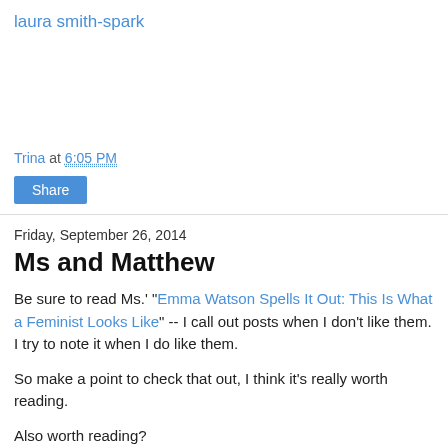laura smith-spark
Trina at 6:05 PM
Share
Friday, September 26, 2014
Ms and Matthew
Be sure to read Ms.' "Emma Watson Spells It Out: This Is What a Feminist Looks Like" -- I call out posts when I don't like them.  I try to note it when I do like them.
So make a point to check that out, I think it's really worth reading.
Also worth reading?